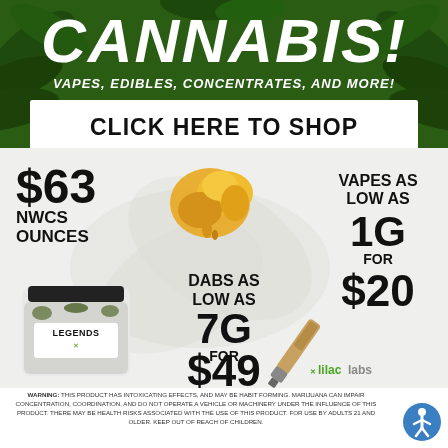CANNABIS!
VAPES, EDIBLES, CONCENTRATES, AND MORE!
CLICK HERE TO SHOP
$63 NWCS OUNCES
[Figure (photo): Yellow amber cannabis concentrate/dab on white background]
VAPES AS LOW AS 1G FOR $20
DABS AS LOW AS 7G FOR $49
[Figure (photo): Glass jar of cannabis labeled LEGENDS X]
[Figure (photo): Cannabis vape cartridge, brown/gold colored]
Xlilac labs
WARNING: THIS PRODUCT HAS INTOXICATING EFFECTS, AND MAY BE HABIT FORMING. MARIJUANA CAN IMPAIR CONCENTRATION, COORDINATION, AND DO NOT OPERATE A VEHICLE OR MACHINERY UNDER THE INFLUENCE OF THIS PRODUCT. THERE MAY BE HEALTH RISKS ASSOCIATED WITH THE USE OF THIS PRODUCT. FOR USE BY ADULTS 21 AND OLDER. KEEP OUT OF REACH OF CHILDREN.